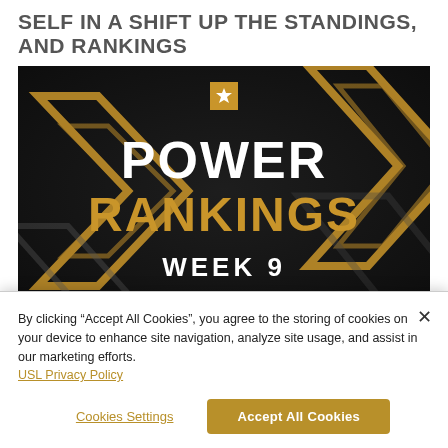SELF IN A SHIFT UP THE STANDINGS, AND RANKINGS
[Figure (illustration): Power Rankings Week 9 graphic: dark background with gold geometric arrow designs, white star icon, bold white and gold text reading POWER RANKINGS WEEK 9]
By clicking “Accept All Cookies”, you agree to the storing of cookies on your device to enhance site navigation, analyze site usage, and assist in our marketing efforts. USL Privacy Policy
Cookies Settings
Accept All Cookies